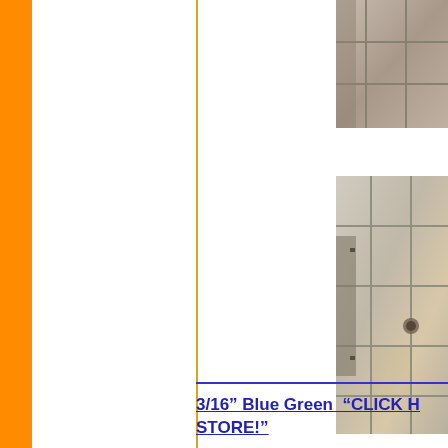[Figure (photo): Close-up photo of tile flooring with grout lines, top portion, partially cropped on right side]
[Figure (photo): Photo of tiled floor with grout lines and a drain visible, showing stone/travertine style tiles with brown and beige tones]
3/16" Blue Green  "CLICK HERE TO VISIT OUR STORE!"